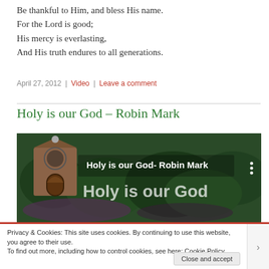Be thankful to Him, and bless His name.
For the Lord is good;
His mercy is everlasting,
And His truth endures to all generations.
April 27, 2012 | Video | Leave a comment
Holy is our God – Robin Mark
[Figure (screenshot): Video thumbnail showing a garden/church backdrop with text 'Holy is our God- Robin Mark' and overlay text 'Holy is our God']
Privacy & Cookies: This site uses cookies. By continuing to use this website, you agree to their use.
To find out more, including how to control cookies, see here: Cookie Policy
Close and accept